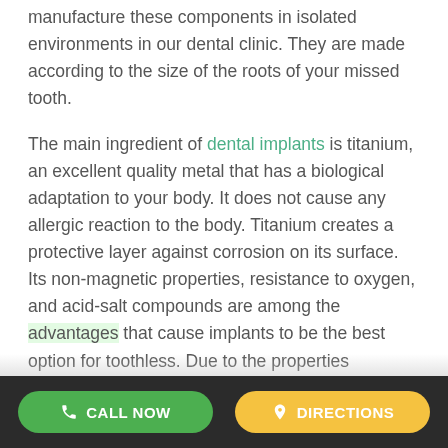manufacture these components in isolated environments in our dental clinic. They are made according to the size of the roots of your missed tooth.
The main ingredient of dental implants is titanium, an excellent quality metal that has a biological adaptation to your body. It does not cause any allergic reaction to the body. Titanium creates a protective layer against corrosion on its surface. Its non-magnetic properties, resistance to oxygen, and acid-salt compounds are among the advantages that cause implants to be the best option for toothless. Due to the properties
CALL NOW | DIRECTIONS